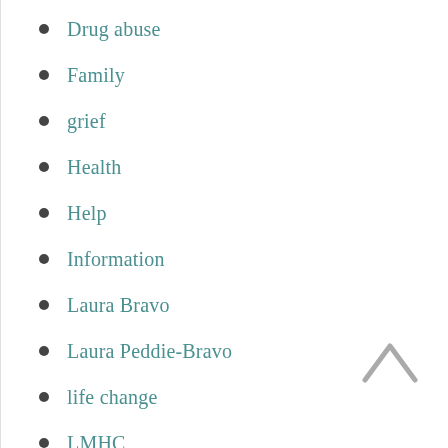Drug abuse
Family
grief
Health
Help
Information
Laura Bravo
Laura Peddie-Bravo
life change
LMHC
Medical
Mind-Body Connection
Office Hours